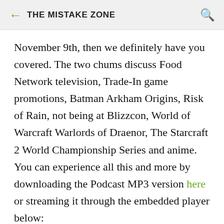THE MISTAKE ZONE
November 9th, then we definitely have you covered. The two chums discuss Food Network television, Trade-In game promotions, Batman Arkham Origins, Risk of Rain, not being at Blizzcon, World of Warcraft Warlords of Draenor, The Starcraft 2 World Championship Series and anime. You can experience all this and more by downloading the Podcast MP3 version here or streaming it through the embedded player below: